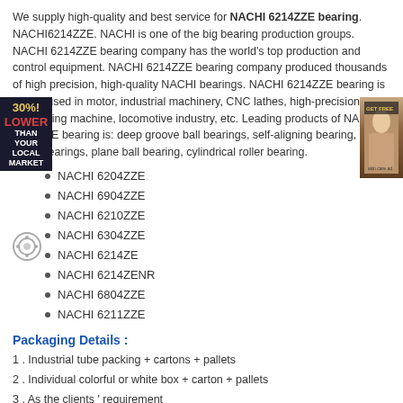We supply high-quality and best service for NACHI 6214ZZE bearing. NACHI6214ZZE. NACHI is one of the big bearing production groups. NACHI 6214ZZE bearing company has the world's top production and control equipment. NACHI 6214ZZE bearing company produced thousands of high precision, high-quality NACHI bearings. NACHI 6214ZZE bearing is widely used in motor, industrial machinery, CNC lathes, high-precision processing machine, locomotive industry, etc. Leading products of NACHI 6214ZZE bearing is: deep groove ball bearings, self-aligning bearing, pillow block bearings, plane ball bearing, cylindrical roller bearing.
NACHI 6204ZZE
NACHI 6904ZZE
NACHI 6210ZZE
NACHI 6304ZZE
NACHI 6214ZE
NACHI 6214ZENR
NACHI 6804ZZE
NACHI 6211ZZE
Packaging Details :
1 . Industrial tube packing + cartons + pallets
2 . Individual colorful or white box + carton + pallets
3 . As the clients ' requirement